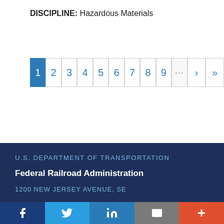DISCIPLINE: Hazardous Materials
Pagination: 1 (active), 2, 3, 4, 5, 6, 7, 8, 9, ..., ›, »
U.S. DEPARTMENT OF TRANSPORTATION
Federal Railroad Administration
1200 NEW JERSEY AVENUE, SE